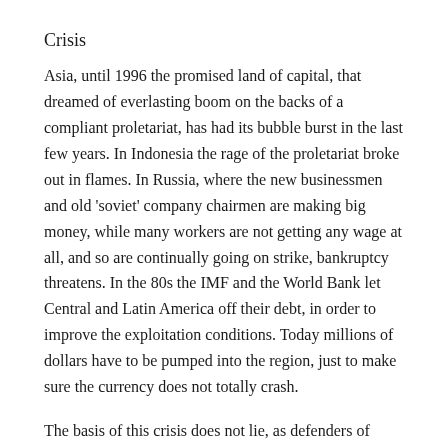Crisis
Asia, until 1996 the promised land of capital, that dreamed of everlasting boom on the backs of a compliant proletariat, has had its bubble burst in the last few years. In Indonesia the rage of the proletariat broke out in flames. In Russia, where the new businessmen and old 'soviet' company chairmen are making big money, while many workers are not getting any wage at all, and so are continually going on strike, bankruptcy threatens. In the 80s the IMF and the World Bank let Central and Latin America off their debt, in order to improve the exploitation conditions. Today millions of dollars have to be pumped into the region, just to make sure the currency does not totally crash.
The basis of this crisis does not lie, as defenders of